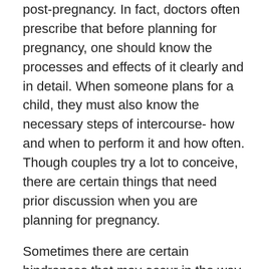post-pregnancy. In fact, doctors often prescribe that before planning for pregnancy, one should know the processes and effects of it clearly and in detail. When someone plans for a child, they must also know the necessary steps of intercourse- how and when to perform it and how often. Though couples try a lot to conceive, there are certain things that need prior discussion when you are planning for pregnancy.
Sometimes there are certain hindrances that may occur in the way of getting pregnant. Sometimes regularity in intercourse can also not ensure pregnancy. Recent statistical data reveal that the odds of a woman getting pregnant in a month who has been trying long to conceive can range from 15% to 25% roughly on average.
So, it is very important to be aware of the obstacles you might face before you get pregnant. Here are some such